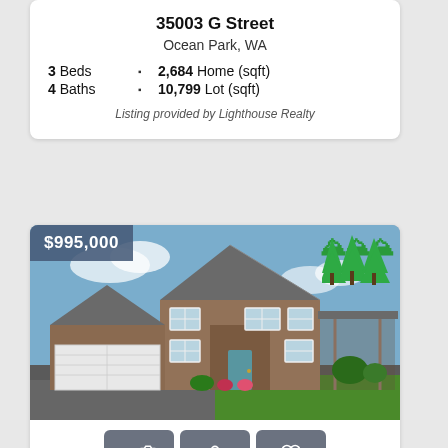35003 G Street
Ocean Park, WA
3 Beds   2,684 Home (sqft)
4 Baths   10,799 Lot (sqft)
Listing provided by Lighthouse Realty
[Figure (photo): Exterior photo of a two-story craftsman-style home with stone/shingle siding, white garage door, blue front door, and green lawn. Price badge shows $995,000 and green tree icon in top right.]
221 19th Street NW
Long Beach, WA
4 Beds   3,580 Home (sqft)